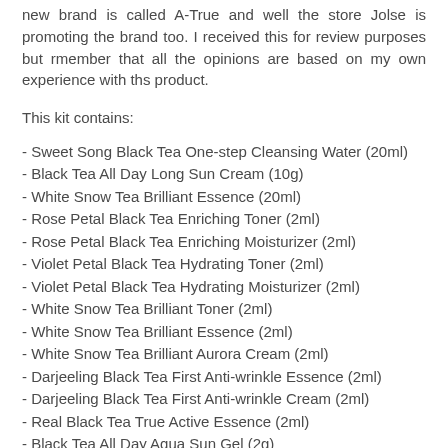new brand is called A-True and well the store Jolse is promoting the brand too. I received this for review purposes but rmember that all the opinions are based on my own experience with ths product.
This kit contains:
- Sweet Song Black Tea One-step Cleansing Water (20ml)
- Black Tea All Day Long Sun Cream (10g)
- White Snow Tea Brilliant Essence (20ml)
- Rose Petal Black Tea Enriching Toner (2ml)
- Rose Petal Black Tea Enriching Moisturizer (2ml)
- Violet Petal Black Tea Hydrating Toner (2ml)
- Violet Petal Black Tea Hydrating Moisturizer (2ml)
- White Snow Tea Brilliant Toner (2ml)
- White Snow Tea Brilliant Essence (2ml)
- White Snow Tea Brilliant Aurora Cream (2ml)
- Darjeeling Black Tea First Anti-wrinkle Essence (2ml)
- Darjeeling Black Tea First Anti-wrinkle Cream (2ml)
- Real Black Tea True Active Essence (2ml)
- Black Tea All Day Aqua Sun Gel (2g)
- Himalaya Black Tea Moist Deep Cream (2g)